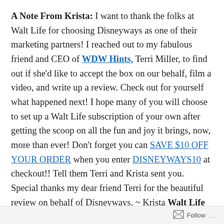A Note From Krista: I want to thank the folks at Walt Life for choosing Disneyways as one of their marketing partners! I reached out to my fabulous friend and CEO of WDW Hints, Terri Miller, to find out if she'd like to accept the box on our behalf, film a video, and write up a review. Check out for yourself what happened next! I hope many of you will choose to set up a Walt Life subscription of your own after getting the scoop on all the fun and joy it brings, now, more than ever! Don't forget you can SAVE $10 OFF YOUR ORDER when you enter DISNEYWAYS10 at checkout!! Tell them Terri and Krista sent you. Special thanks my dear friend Terri for the beautiful review on behalf of Disneyways. ~ Krista Walt Life Subscription Box Review By Guest Author Terri Miller Starts Here: We were chosen to receive a Walt Life Subscription Box;
Follow